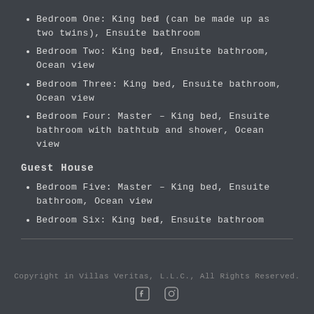Bedroom One: King bed (can be made up as two twins), Ensuite bathroom
Bedroom Two: King bed, Ensuite bathroom, Ocean view
Bedroom Three: King bed, Ensuite bathroom, Ocean view
Bedroom Four: Master – King bed, Ensuite bathroom with bathtub and shower, Ocean view
Guest House
Bedroom Five: Master – King bed, Ensuite bathroom, Ocean view
Bedroom Six: King bed, Ensuite bathroom
Copyright in Villas Veritas, L.L.C., All Rights Reserved.